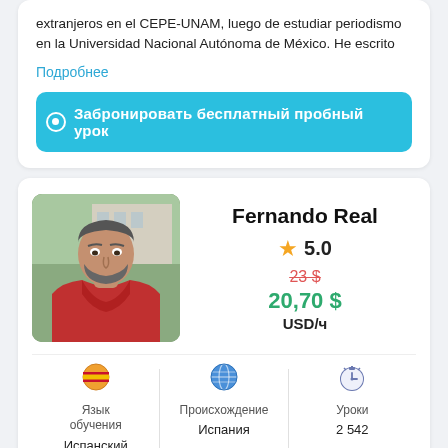extranjeros en el CEPE-UNAM, luego de estudiar periodismo en la Universidad Nacional Autónoma de México. He escrito
Подробнее
Забронировать бесплатный пробный урок
Fernando Real
5.0
23 $
20,70 $
USD/ч
[Figure (photo): Profile photo of tutor Fernando Real, a man in a red jacket outdoors]
Язык обучения
Испанский
Происхождение
Испания
Уроки
2 542